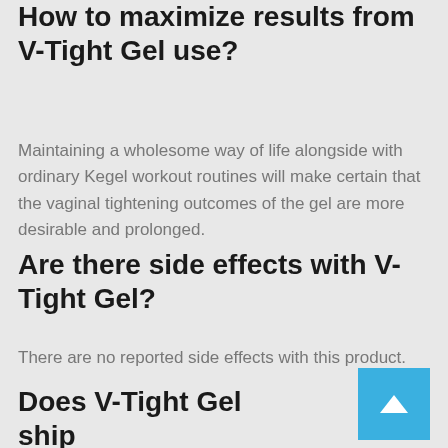How to maximize results from V-Tight Gel use?
Maintaining a wholesome way of life alongside with ordinary Kegel workout routines will make certain that the vaginal tightening outcomes of the gel are more desirable and prolonged.
Are there side effects with V-Tight Gel?
There are no reported side effects with this product.
Does V-Tight Gel ship internationally?